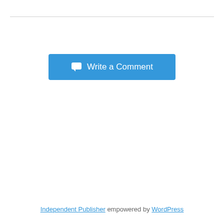[Figure (other): Horizontal rule separator line near top of page]
Write a Comment (button with speech bubble icon)
Independent Publisher empowered by WordPress